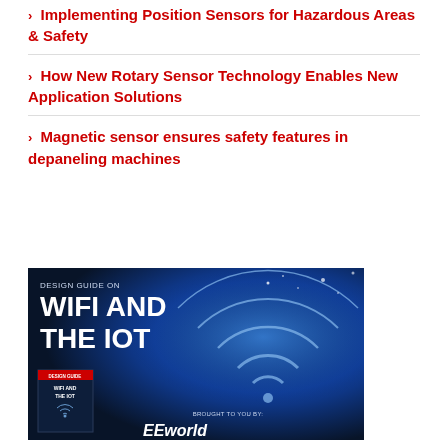Implementing Position Sensors for Hazardous Areas & Safety
How New Rotary Sensor Technology Enables New Application Solutions
Magnetic sensor ensures safety features in depaneling machines
[Figure (illustration): Design Guide on WiFi and the IoT advertisement banner with blue gradient background, WiFi rings graphic, robot hand imagery, book cover thumbnail, and EEworld branding]